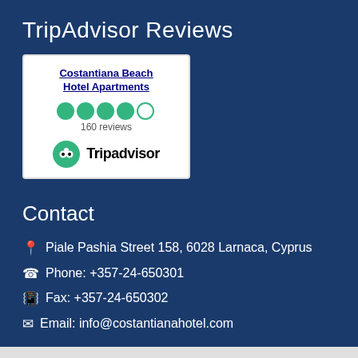TripAdvisor Reviews
[Figure (other): TripAdvisor widget showing Costantiana Beach Hotel Apartments with 4 out of 5 green circles rating, 160 reviews, and Tripadvisor logo]
Contact
Piale Pashia Street 158, 6028 Larnaca, Cyprus
Phone: +357-24-650301
Fax: +357-24-650302
Email: info@costantianahotel.com